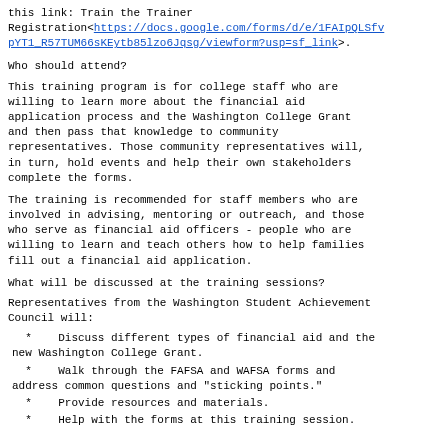this link: Train the Trainer Registration<https://docs.google.com/forms/d/e/1FAIpQLSfvpYT1_R57TUM66sKEytb85lzo6Jqsg/viewform?usp=sf_link>.
Who should attend?
This training program is for college staff who are willing to learn more about the financial aid application process and the Washington College Grant and then pass that knowledge to community representatives. Those community representatives will, in turn, hold events and help their own stakeholders complete the forms.
The training is recommended for staff members who are involved in advising, mentoring or outreach, and those who serve as financial aid officers - people who are willing to learn and teach others how to help families fill out a financial aid application.
What will be discussed at the training sessions?
Representatives from the Washington Student Achievement Council will:
Discuss different types of financial aid and the new Washington College Grant.
Walk through the FAFSA and WAFSA forms and address common questions and "sticking points."
Provide resources and materials.
Help with the forms at the training session.